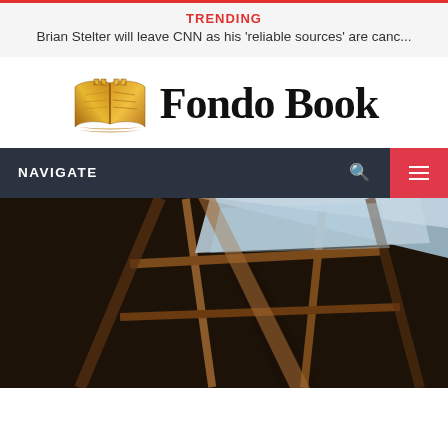TRENDING
Brian Stelter will leave CNN as his 'reliable sources' are canc...
[Figure (logo): Fondo Book logo with open book icon in gold/brown and text 'Fondo Book' in blackletter font]
NAVIGATE
[Figure (photo): Looking up through a skylight or window frame showing architectural elements, dark wood frame with glass panels and sky visible]